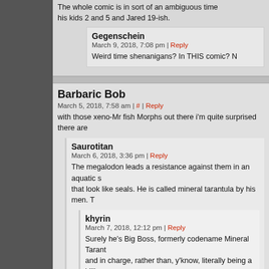The whole comic is in sort of an ambiguous time his kids 2 and 5 and Jared 19-ish.
Gegenschein
March 9, 2018, 7:08 pm | Reply
Weird time shenanigans? In THIS comic? N
Barbaric Bob
March 5, 2018, 7:58 am | # | Reply
with those xeno-Mr fish Morphs out there i'm quite surprised there are
Saurotitan
March 6, 2018, 3:36 pm | Reply
The megalodon leads a resistance against them in an aquatic s that look like seals. He is called mineral tarantula by his men. T
khyrin
March 7, 2018, 12:12 pm | Reply
Surely he's Big Boss, formerly codename Mineral Tarant and in charge, rather than, y'know, literally being a killjoy